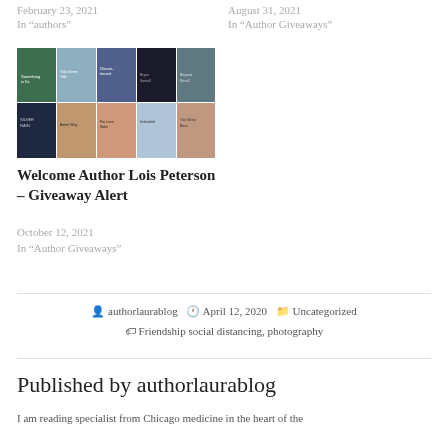February 23, 2021
In "authors"
August 31, 2021
In "Author Giveaways"
[Figure (photo): Grid of book covers including Silver Rain and other titles]
Welcome Author Lois Peterson – Giveaway Alert
October 12, 2021
In "Author Giveaways"
authorlaurablog   April 12, 2020   Uncategorized
Friendship social distancing, photography
Published by authorlaurablog
I am reading specialist from Chicago medicine in the heart of the